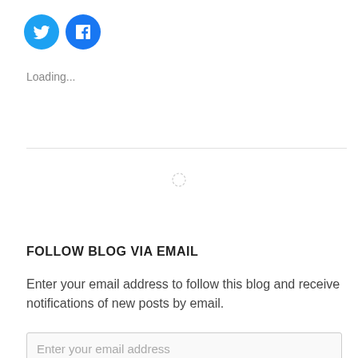[Figure (other): Two circular social media icon buttons: Twitter (bird icon, cyan/blue background) and Facebook (f icon, blue background)]
Loading...
[Figure (other): A circular loading spinner animation indicator]
FOLLOW BLOG VIA EMAIL
Enter your email address to follow this blog and receive notifications of new posts by email.
Enter your email address